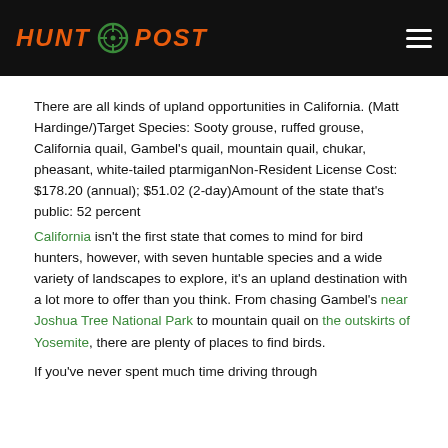HUNT POST
There are all kinds of upland opportunities in California. (Matt Hardinge/)Target Species: Sooty grouse, ruffed grouse, California quail, Gambel's quail, mountain quail, chukar, pheasant, white-tailed ptarmiganNon-Resident License Cost: $178.20 (annual); $51.02 (2-day)Amount of the state that's public: 52 percent
California isn't the first state that comes to mind for bird hunters, however, with seven huntable species and a wide variety of landscapes to explore, it's an upland destination with a lot more to offer than you think. From chasing Gambel's near Joshua Tree National Park to mountain quail on the outskirts of Yosemite, there are plenty of places to find birds.
If you've never spent much time driving through